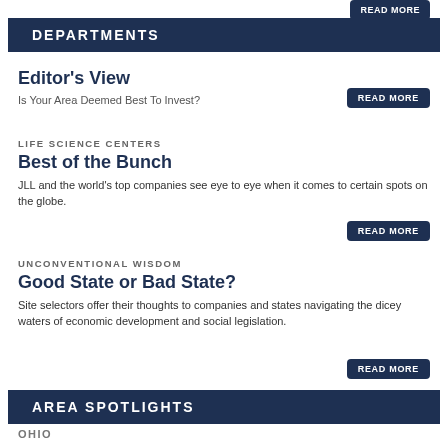READ MORE
DEPARTMENTS
Editor's View
Is Your Area Deemed Best To Invest?
LIFE SCIENCE CENTERS
Best of the Bunch
JLL and the world's top companies see eye to eye when it comes to certain spots on the globe.
UNCONVENTIONAL WISDOM
Good State or Bad State?
Site selectors offer their thoughts to companies and states navigating the dicey waters of economic development and social legislation.
AREA SPOTLIGHTS
OHIO